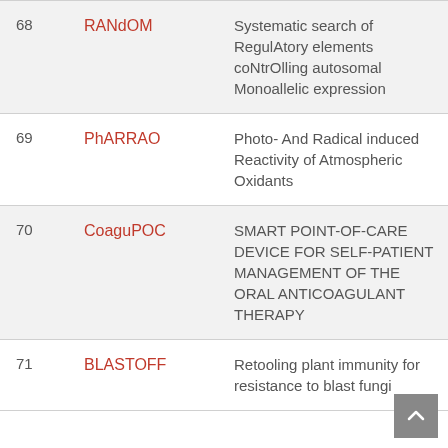| # | Name | Description |
| --- | --- | --- |
| 68 | RANdOM | Systematic search of RegulAtory elements coNtrOlling autosomal Monoallelic expression |
| 69 | PhARRAO | Photo- And Radical induced Reactivity of Atmospheric Oxidants |
| 70 | CoaguPOC | SMART POINT-OF-CARE DEVICE FOR SELF-PATIENT MANAGEMENT OF THE ORAL ANTICOAGULANT THERAPY |
| 71 | BLASTOFF | Retooling plant immunity for resistance to blast fungi |